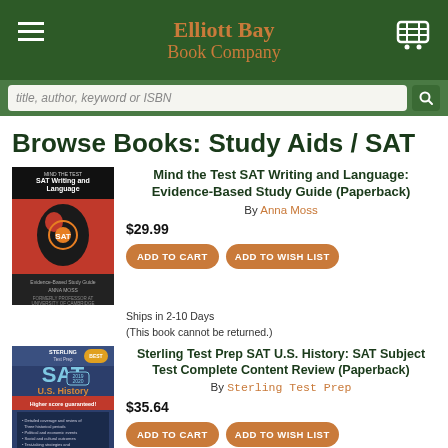Elliott Bay Book Company
Browse Books: Study Aids / SAT
[Figure (illustration): Book cover: Mind the Test SAT Writing and Language — Evidence-Based Study Guide, red cover with silhouette head]
Mind the Test SAT Writing and Language: Evidence-Based Study Guide (Paperback)
By Anna Moss
$29.99
Ships in 2-10 Days
(This book cannot be returned.)
[Figure (illustration): Book cover: Sterling Test Prep SAT U.S. History: SAT Subject Test Complete Content Review, dark blue cover]
Sterling Test Prep SAT U.S. History: SAT Subject Test Complete Content Review (Paperback)
By Sterling Test Prep
$35.64